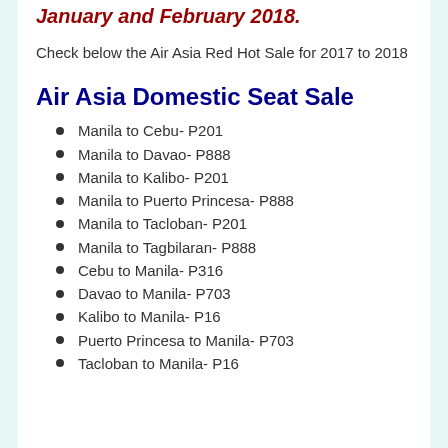January and February 2018.
Check below the Air Asia Red Hot Sale for 2017 to 2018
Air Asia Domestic Seat Sale
Manila to Cebu- P201
Manila to Davao- P888
Manila to Kalibo- P201
Manila to Puerto Princesa- P888
Manila to Tacloban- P201
Manila to Tagbilaran- P888
Cebu to Manila- P316
Davao to Manila- P703
Kalibo to Manila- P16
Puerto Princesa to Manila- P703
Tacloban to Manila- P16